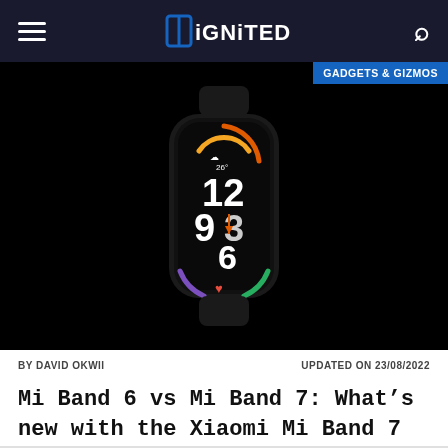DiGNITED
[Figure (photo): Xiaomi Mi Band 7 smartwatch on a black background showing a watch face with the time 12:93:6, colored arc indicators, weather showing 26°, and heart rate showing 97.]
GADGETS & GIZMOS
BY DAVID OKWII
UPDATED ON 23/08/2022
Mi Band 6 vs Mi Band 7: What's new with the Xiaomi Mi Band 7